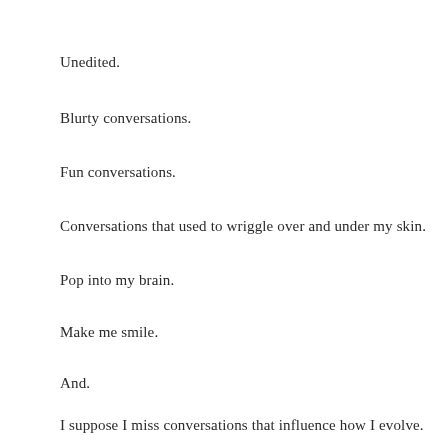Unedited.
Blurty conversations.
Fun conversations.
Conversations that used to wriggle over and under my skin.
Pop into my brain.
Make me smile.
And.
I suppose I miss conversations that influence how I evolve.